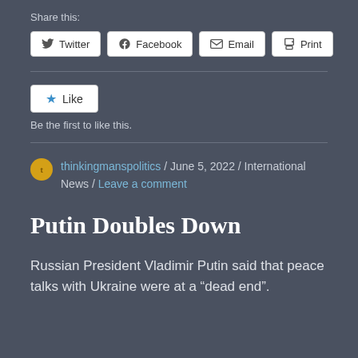Share this:
[Figure (other): Share buttons: Twitter, Facebook, Email, Print]
[Figure (other): Like button with star icon]
Be the first to like this.
thinkingmanspolitics / June 5, 2022 / International News / Leave a comment
Putin Doubles Down
Russian President Vladimir Putin said that peace talks with Ukraine were at a “dead end”.